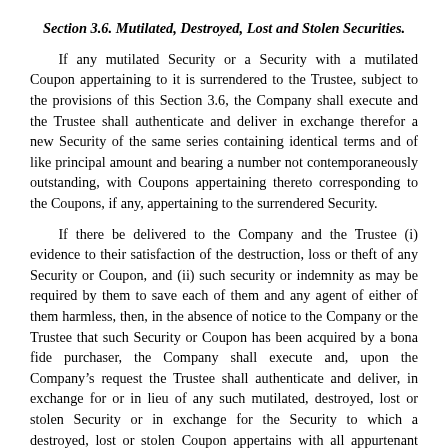Section 3.6. Mutilated, Destroyed, Lost and Stolen Securities.
If any mutilated Security or a Security with a mutilated Coupon appertaining to it is surrendered to the Trustee, subject to the provisions of this Section 3.6, the Company shall execute and the Trustee shall authenticate and deliver in exchange therefor a new Security of the same series containing identical terms and of like principal amount and bearing a number not contemporaneously outstanding, with Coupons appertaining thereto corresponding to the Coupons, if any, appertaining to the surrendered Security.
If there be delivered to the Company and the Trustee (i) evidence to their satisfaction of the destruction, loss or theft of any Security or Coupon, and (ii) such security or indemnity as may be required by them to save each of them and any agent of either of them harmless, then, in the absence of notice to the Company or the Trustee that such Security or Coupon has been acquired by a bona fide purchaser, the Company shall execute and, upon the Company’s request the Trustee shall authenticate and deliver, in exchange for or in lieu of any such mutilated, destroyed, lost or stolen Security or in exchange for the Security to which a destroyed, lost or stolen Coupon appertains with all appurtenant Coupons not destroyed, lost or stolen, a new Security of the same series containing identical terms and of like principal amount and bearing a number not contemporaneously outstanding, with Coupons appertaining thereto corresponding to the Coupons, if any, appertaining to such destroyed, lost or stolen Security or to the Security to which such destroyed, lost or stolen Coupon appertains.
Notwithstanding the foregoing provisions of this Section 3.6, in case any mutilated, destroyed, lost or stolen Security or Coupon has become or is about to become due and payable, the Company in its discretion may, instead of issuing a